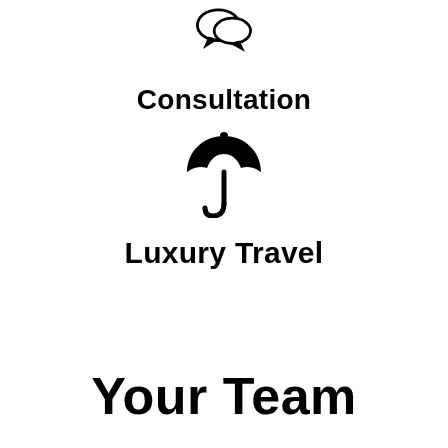[Figure (illustration): Speech bubble / chat icon at top of page]
Consultation
[Figure (illustration): Umbrella icon]
Luxury Travel
Your Team